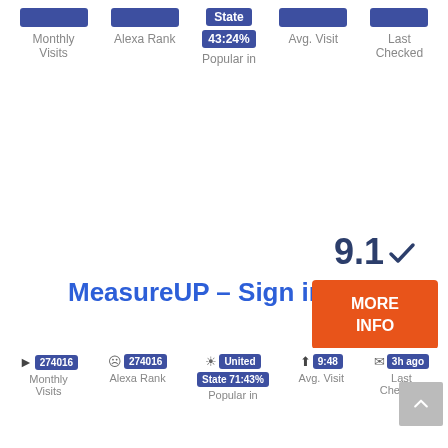Monthly Visits | Alexa Rank | State | Avg. Visit | Last Checked
State 43:24% Popular in
4
MeasureUP – Sign in
9.1 ✓
MORE INFO
274016 | 274016 | United | 9:48 | 3h ago
Monthly Visits | Alexa Rank | State 71:43% Popular in | Avg. Visit | Last Checked